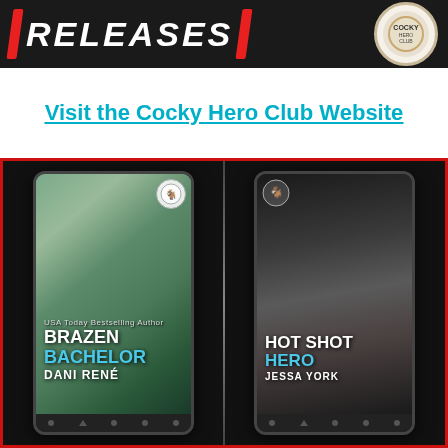[Figure (illustration): Banner image with 'RELEASES' text in white italic bold against dark background, with a circular badge/logo on the right side]
Visit the Cocky Hero Club Website
[Figure (illustration): Promotional image with dark background and red border showing two e-readers/tablets with book covers: 'Brazen Bachelor' by Dani Rene (left) and 'Hot Shot Hero' by Jessa York (right)]